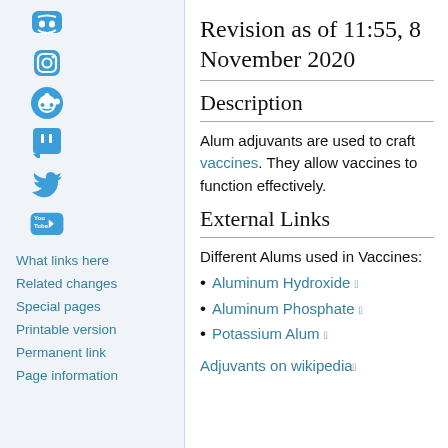[Figure (illustration): Left sidebar with social media icons: Discord, Instagram, Reddit, Twitch, Twitter, YouTube]
What links here
Related changes
Special pages
Printable version
Permanent link
Page information
Revision as of 11:55, 8 November 2020
Description
Alum adjuvants are used to craft vaccines. They allow vaccines to function effectively.
External Links
Different Alums used in Vaccines:
Aluminum Hydroxide
Aluminum Phosphate
Potassium Alum
Adjuvants on wikipedia